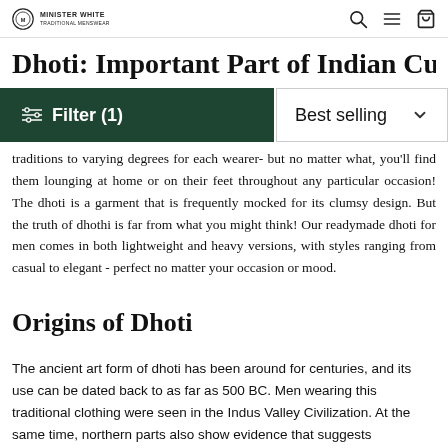Minister White [logo] — navigation with search, menu, and cart icons
Dhoti: Important Part of Indian Culture
[Figure (other): Filter (1) button in dark green and Best selling sort dropdown]
traditions to varying degrees for each wearer- but no matter what, you'll find them lounging at home or on their feet throughout any particular occasion! The dhoti is a garment that is frequently mocked for its clumsy design. But the truth of dhothi is far from what you might think! Our readymade dhoti for men comes in both lightweight and heavy versions, with styles ranging from casual to elegant - perfect no matter your occasion or mood.
Origins of Dhoti
The ancient art form of dhoti has been around for centuries, and its use can be dated back to as far as 500 BC. Men wearing this traditional clothing were seen in the Indus Valley Civilization. At the same time, northern parts also show evidence that suggests